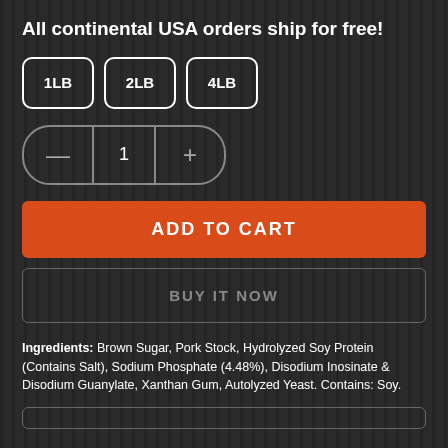All continental USA orders ship for free!
1LB  2LB  4LB
— 1 +
ADD TO CART
BUY IT NOW
Ingredients: Brown Sugar, Pork Stock, Hydrolyzed Soy Protein (Contains Salt), Sodium Phosphate (4.48%), Disodium Inosinate & Disodium Guanylate, Xanthan Gum, Autolyzed Yeast. Contains: Soy.